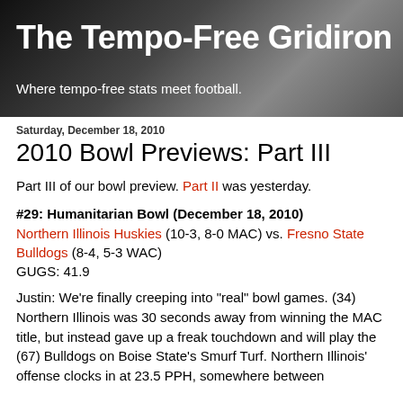The Tempo-Free Gridiron
Where tempo-free stats meet football.
Saturday, December 18, 2010
2010 Bowl Previews: Part III
Part III of our bowl preview. Part II was yesterday.
#29: Humanitarian Bowl (December 18, 2010)
Northern Illinois Huskies (10-3, 8-0 MAC) vs. Fresno State Bulldogs (8-4, 5-3 WAC)
GUGS: 41.9
Justin: We're finally creeping into "real" bowl games. (34) Northern Illinois was 30 seconds away from winning the MAC title, but instead gave up a freak touchdown and will play the (67) Bulldogs on Boise State's Smurf Turf. Northern Illinois' offense clocks in at 23.5 PPH, somewhere between